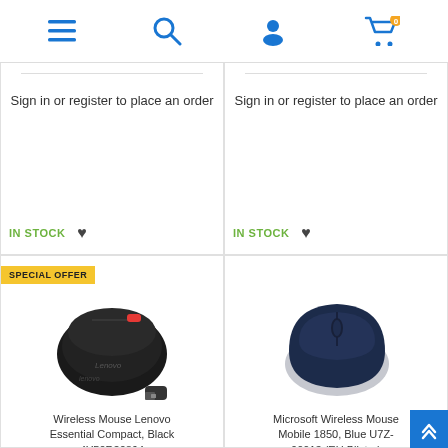Navigation header with menu, search, account, and cart icons
Sign in or register to place an order
IN STOCK
Sign in or register to place an order
IN STOCK
[Figure (photo): Lenovo wireless mouse, black with red scroll button, with USB dongle. Badge: SPECIAL OFFER]
Wireless Mouse Lenovo Essential Compact, Black 4Y50R20864
[Figure (photo): Microsoft Wireless Mouse Mobile 1850, Blue, EU Blister packaging]
Microsoft Wireless Mouse Mobile 1850, Blue U7Z-00013 (EU Blister)